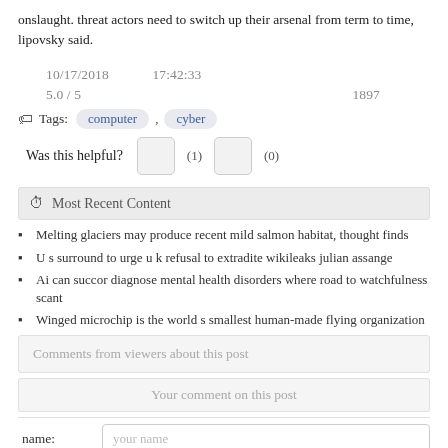onslaught. threat actors need to switch up their arsenal from term to time, lipovsky said.
10/17/2018    17:42:33
5.0 / 5    1897
Tags: computer , cyber
Was this helpful? (1) (0)
Most Recent Content
Melting glaciers may produce recent mild salmon habitat, thought finds
U s surround to urge u k refusal to extradite wikileaks julian assange
Ai can succor diagnose mental health disorders where road to watchfulness scant
Winged microchip is the world s smallest human-made flying organization
Comments from viewers about this post
Your comment on this post
name:   your name